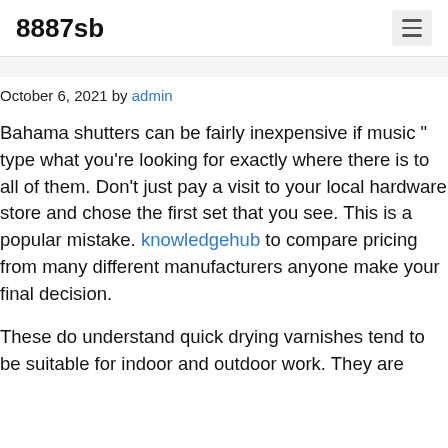8887sb
October 6, 2021 by admin
Bahama shutters can be fairly inexpensive if music “ type what you’re looking for exactly where there is to all of them. Don’t just pay a visit to your local hardware store and chose the first set that you see. This is a popular mistake. knowledgehub to compare pricing from many different manufacturers anyone make your final decision.
These do understand quick drying varnishes tend to be suitable for indoor and outdoor work. They are